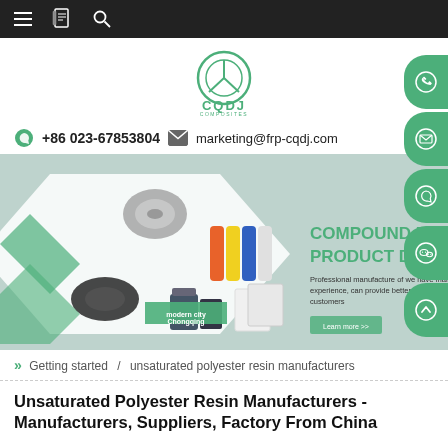Navigation bar with menu, bookmark, and search icons
[Figure (logo): CQDJ Composites logo - green circular steering wheel icon with CQDJ COMPOSITES text below]
+86 023-67853804   marketing@frp-cqdj.com
[Figure (infographic): Banner showing compound material products - fiber spool, colored rolls, black roll, liquid container, white panels. Text: COMPOUND MATERIAL- PRODUCT DIVERSIFICATION. Professional manufacture of we have many years of experience, can provide better products and services for customers. Modern City Chongqing label.]
Getting started  /  unsaturated polyester resin manufacturers
Unsaturated Polyester Resin Manufacturers - Manufacturers, Suppliers, Factory From China